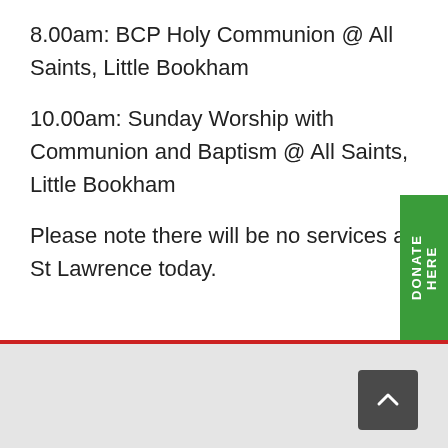8.00am: BCP Holy Communion @ All Saints, Little Bookham
10.00am: Sunday Worship with Communion and Baptism @ All Saints, Little Bookham
Please note there will be no services at St Lawrence today.
[Figure (other): Green vertical 'DONATE HERE' button on right side]
[Figure (other): Dark gray back-to-top arrow button in gray footer area]